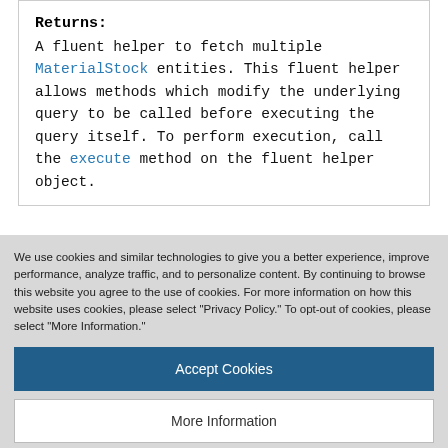Returns:
A fluent helper to fetch multiple MaterialStock entities. This fluent helper allows methods which modify the underlying query to be called before executing the query itself. To perform execution, call the execute method on the fluent helper object.
We use cookies and similar technologies to give you a better experience, improve performance, analyze traffic, and to personalize content. By continuing to browse this website you agree to the use of cookies. For more information on how this website uses cookies, please select "Privacy Policy." To opt-out of cookies, please select "More Information."
Accept Cookies
More Information
Privacy Policy | Powered by: TrustArc
Constraints: Not nullable. Maximum length: